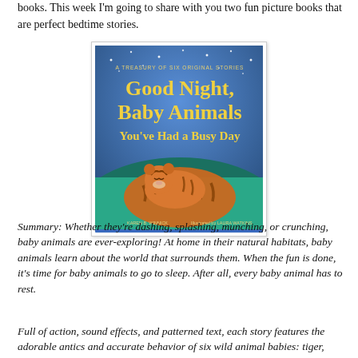books. This week I'm going to share with you two fun picture books that are perfect bedtime stories.
[Figure (illustration): Book cover of 'Good Night, Baby Animals You've Had a Busy Day' — A Treasury of Six Original Stories, by Karen B. Winnick, illustrated by Laura Watkins. Blue/teal background with stars, yellow title text, and two baby tigers curled together at the bottom.]
Summary: Whether they're dashing, splashing, munching, or crunching, baby animals are ever-exploring! At home in their natural habitats, baby animals learn about the world that surrounds them. When the fun is done, it's time for baby animals to go to sleep. After all, every baby animal has to rest.
Full of action, sound effects, and patterned text, each story features the adorable antics and accurate behavior of six wild animal babies: tiger, elephant, giraffe, rhinoceros…